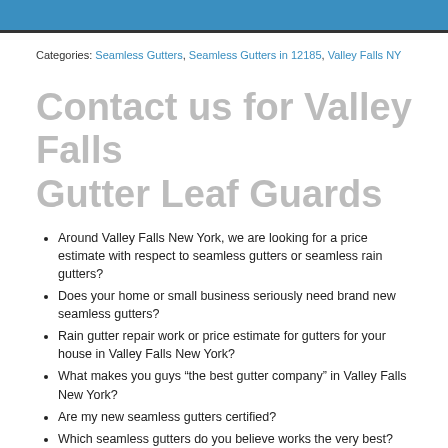Categories: Seamless Gutters, Seamless Gutters in 12185, Valley Falls NY
Contact us for Valley Falls Gutter Leaf Guards
Around Valley Falls New York, we are looking for a price estimate with respect to seamless gutters or seamless rain gutters?
Does your home or small business seriously need brand new seamless gutters?
Rain gutter repair work or price estimate for gutters for your house in Valley Falls New York?
What makes you guys “the best gutter company” in Valley Falls New York?
Are my new seamless gutters certified?
Which seamless gutters do you believe works the very best?
I made a contact for a professional to supply me a seamless...